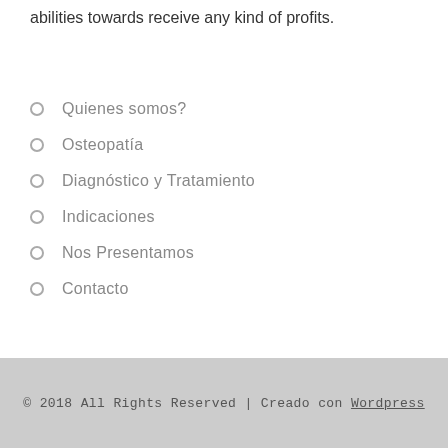abilities towards receive any kind of profits.
Quienes somos?
Osteopatía
Diagnóstico y Tratamiento
Indicaciones
Nos Presentamos
Contacto
© 2018 All Rights Reserved | Creado con Wordpress